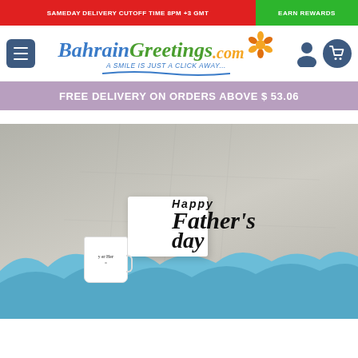SAMEDAY DELIVERY CUTOFF TIME 8PM +3 GMT | EARN REWARDS
[Figure (logo): BahrainGreetings.com logo with flower graphic and tagline 'A SMILE IS JUST A CLICK AWAY...']
FREE DELIVERY ON ORDERS ABOVE $ 53.06
[Figure (photo): Father's Day gift set with white gift box, mug with 'Super Hero' text, and black 'Happy Father's Day' decorative cutout sign, presented with blue tissue paper]